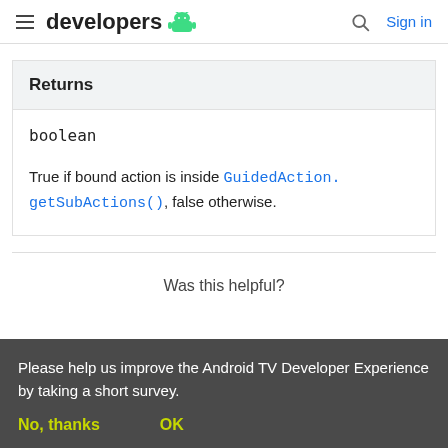developers | Sign in
| Returns |
| --- |
| boolean |
| True if bound action is inside GuidedAction.getSubActions(), false otherwise. |
Was this helpful?
Please help us improve the Android TV Developer Experience by taking a short survey.
No, thanks    OK